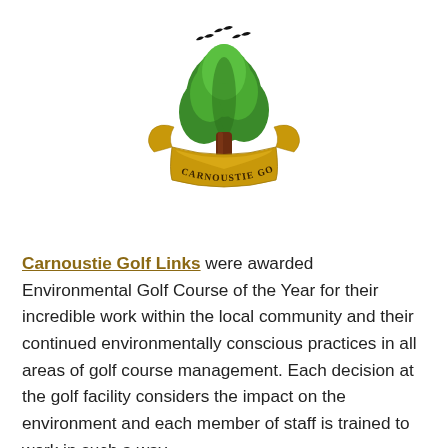[Figure (logo): Carnoustie Golf Links crest logo featuring a large green tree with a dark brown trunk, three black birds flying above, and a gold banner reading 'CARNOUSTIE GOLF LINKS' wrapping around the base of the tree.]
Carnoustie Golf Links were awarded Environmental Golf Course of the Year for their incredible work within the local community and their continued environmentally conscious practices in all areas of golf course management. Each decision at the golf facility considers the impact on the environment and each member of staff is trained to work in such a way.